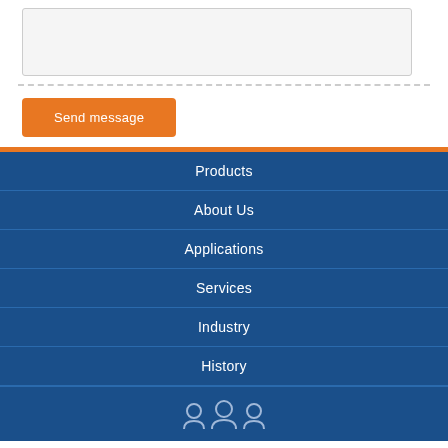[Figure (screenshot): A light gray textarea/input box for a contact form]
[Figure (screenshot): An orange 'Send message' button]
Products
About Us
Applications
Services
Industry
History
[Figure (illustration): Three social media or person icons at the bottom of the blue navigation footer]